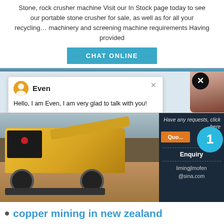Stone, rock crusher machine Visit our In Stock page today to see our portable stone crusher for sale, as well as for all your recycling... machinery and screening machine requirements Having provided
CHAT ONLINE
[Figure (screenshot): Chat popup with avatar named Even saying: Hello, I am Even, I am very glad to talk with you!]
[Figure (photo): Yellow rock crusher machine on a construction site with dirt ground]
[Figure (infographic): Dark sidebar with Have any requests click here text, Quote button, blue circle with number 1, Enquiry link, limingjlmofen@sina.com email]
copper mining in new zealand